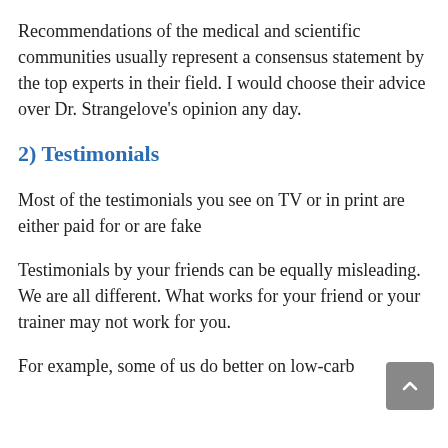Recommendations of the medical and scientific communities usually represent a consensus statement by the top experts in their field. I would choose their advice over Dr. Strangelove’s opinion any day.
2) Testimonials
Most of the testimonials you see on TV or in print are either paid for or are fake
Testimonials by your friends can be equally misleading. We are all different. What works for your friend or your trainer may not work for you.
For example, some of us do better on low-carb diets and others do better on low-fat diets.